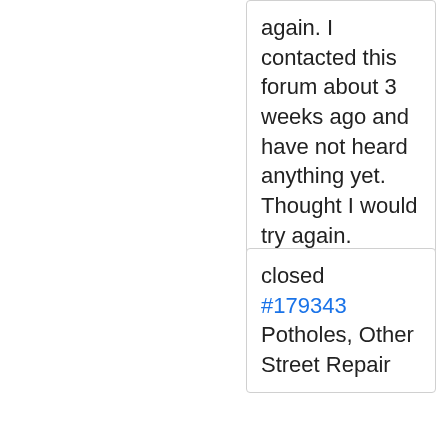again. I contacted this forum about 3 weeks ago and have not heard anything yet. Thought I would try again. Thanks
closed #179343 Potholes, Other Street Repair